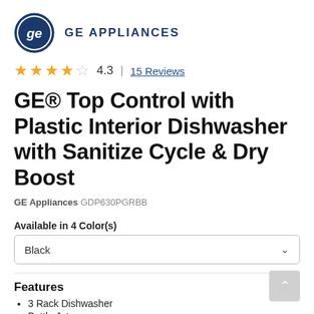[Figure (logo): GE Appliances logo: circular GE monogram in blue on left, with 'GE APPLIANCES' text in bold navy blue to the right]
4.3  |  15 Reviews (4 full stars and 1 partial star rating)
GE® Top Control with Plastic Interior Dishwasher with Sanitize Cycle & Dry Boost
GE Appliances GDP630PGRBB
Available in 4 Color(s)
Black
Features
3 Rack Dishwasher
Bottle Jets